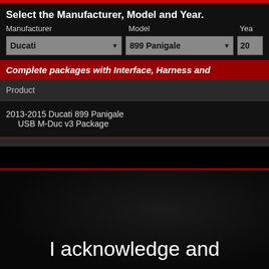Select the Manufacturer, Model and Year.
Manufacturer | Model | Year
Ducati | 899 Panigale | 20...
Complete packages with Interface, Harness and...
| Product |
| --- |
| 2013-2015 Ducati 899 Panigale
  USB M-Duc v3 Package |
[Figure (screenshot): Dark product page screenshot showing lower portion with logo and partial product image on dark background]
I acknowledge and